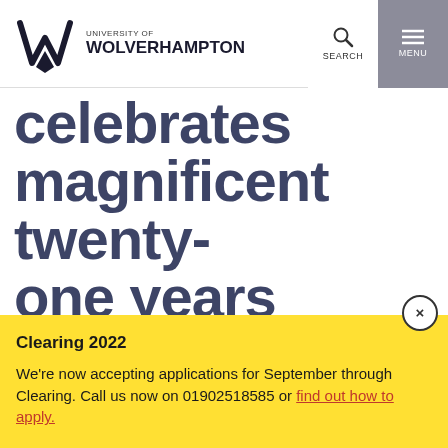University of Wolverhampton | SEARCH | MENU
celebrates magnificent twenty-one years
Clearing 2022
We're now accepting applications for September through Clearing. Call us now on 01902518585 or find out how to apply.